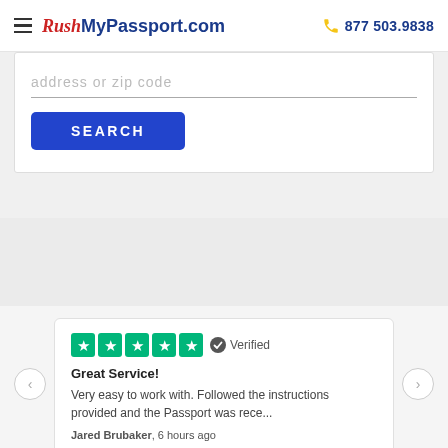RushMyPassport.com  877 503.9838
address or zip code
SEARCH
Great Service!
Very easy to work with. Followed the instructions provided and the Passport was rece...
Jared Brubaker, 6 hours ago